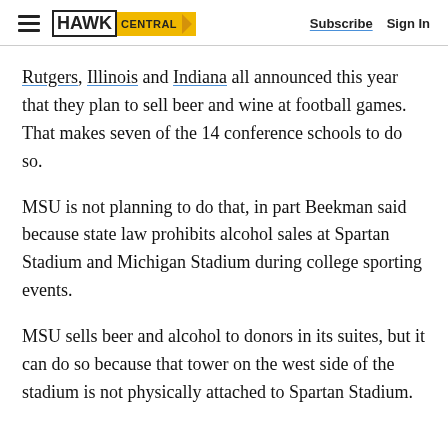HAWK CENTRAL | Subscribe | Sign In
Rutgers, Illinois and Indiana all announced this year that they plan to sell beer and wine at football games. That makes seven of the 14 conference schools to do so.
MSU is not planning to do that, in part Beekman said because state law prohibits alcohol sales at Spartan Stadium and Michigan Stadium during college sporting events.
MSU sells beer and alcohol to donors in its suites, but it can do so because that tower on the west side of the stadium is not physically attached to Spartan Stadium.